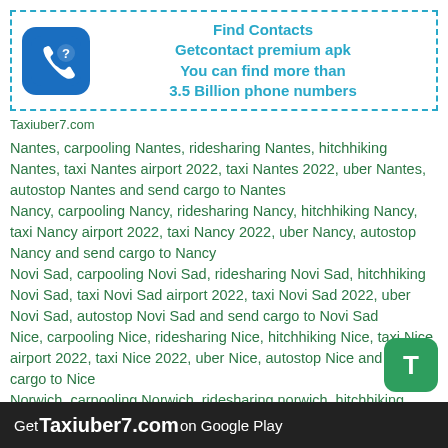[Figure (infographic): Ad banner with dashed teal border. Blue rounded square icon with phone and question mark. Text: Find Contacts, Getcontact premium apk, You can find more than 3.5 Billion phone numbers]
Taxiuber7.com
Nantes, carpooling Nantes, ridesharing Nantes, hitchhiking Nantes, taxi Nantes airport 2022, taxi Nantes 2022, uber Nantes, autostop Nantes and send cargo to Nantes
Nancy, carpooling Nancy, ridesharing Nancy, hitchhiking Nancy, taxi Nancy airport 2022, taxi Nancy 2022, uber Nancy, autostop Nancy and send cargo to Nancy
Novi Sad, carpooling Novi Sad, ridesharing Novi Sad, hitchhiking Novi Sad, taxi Novi Sad airport 2022, taxi Novi Sad 2022, uber Novi Sad, autostop Novi Sad and send cargo to Novi Sad
Nice, carpooling Nice, ridesharing Nice, hitchhiking Nice, taxi Nice airport 2022, taxi Nice 2022, uber Nice, autostop Nice and send cargo to Nice
Norwich, carpooling Norwich, ridesharing norwich, hitchhiking norwich, taxi norwich airport 2022, taxi
Get Taxiuber7.com on Google Play